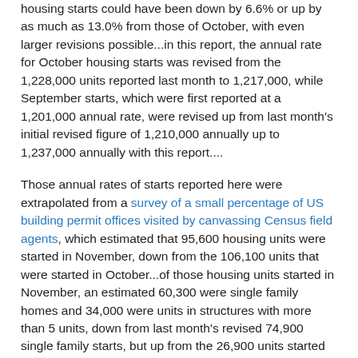housing starts could have been down by 6.6% or up by as much as 13.0% from those of October, with even larger revisions possible...in this report, the annual rate for October housing starts was revised from the 1,228,000 units reported last month to 1,217,000, while September starts, which were first reported at a 1,201,000 annual rate, were revised up from last month's initial revised figure of 1,210,000 annually up to 1,237,000 annually with this report....
Those annual rates of starts reported here were extrapolated from a survey of a small percentage of US building permit offices visited by canvassing Census field agents, which estimated that 95,600 housing units were started in November, down from the 106,100 units that were started in October...of those housing units started in November, an estimated 60,300 were single family homes and 34,000 were units in structures with more than 5 units, down from last month's revised 74,900 single family starts, but up from the 26,900 units started in structures with more than 5 units in October...
The monthly data on new building permits, with a smaller margin of error, are probably a better monthly indicator of